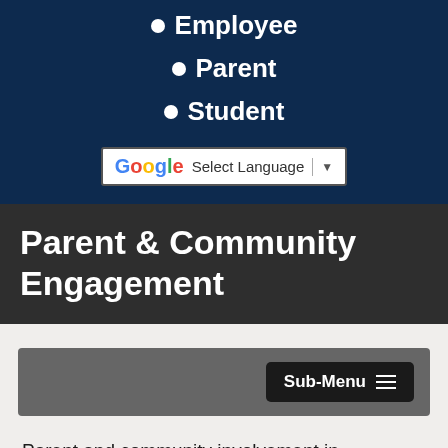Employee
Parent
Student
[Figure (screenshot): Google Translate 'Select Language' dropdown widget with G logo and dropdown arrow]
Parent & Community Engagement
[Figure (screenshot): Sub-Menu button with hamburger icon on a dark grey bar]
Parent and community involvement in education is a proven way to ensure a child is successful through the course of the academic journey and